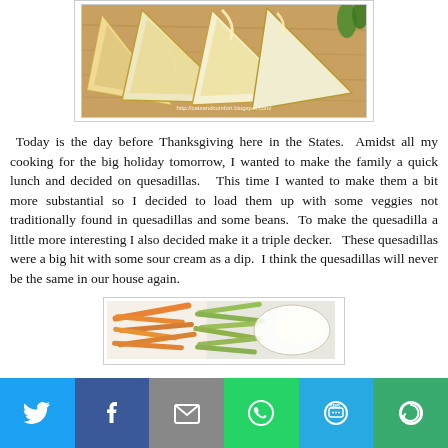[Figure (photo): Photo of quesadilla slices cut into triangular pieces on a wooden board, with a watermark reading http://catsandcomfort.blogspot.com/]
Today is the day before Thanksgiving here in the States.  Amidst all my cooking for the big holiday tomorrow, I wanted to make the family a quick lunch and decided on quesadillas.   This time I wanted to make them a bit more substantial so I decided to load them up with some veggies not traditionally found in quesadillas and some beans.  To make the quesadilla a little more interesting I also decided make it a triple decker.   These quesadillas were a big hit with some sour cream as a dip.  I think the quesadillas will never be the same in our house again.
[Figure (photo): Photo of shredded vegetables including orange carrots and green zucchini/cabbage on a white surface]
[Figure (infographic): Social sharing bar with Twitter, Facebook, Email, WhatsApp, SMS, and More buttons]